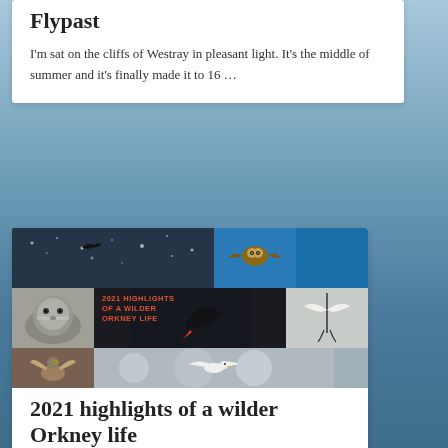Flypast
I'm sat on the cliffs of Westray in pleasant light. It's the middle of summer and it's finally made it to 16 …
[Figure (photo): Collage of wildlife photos from Orkney: bird silhouette over water, owl in flight, seal pup, bird in flight, wading bird, seagull in flight. Text overlay reads '2021 HIGHLIGHTS OF A WILDER ORKNEY LIFE' in red/orange.]
2021 highlights of a wilder Orkney life
I had a wonderful time on Westray in Orkney in